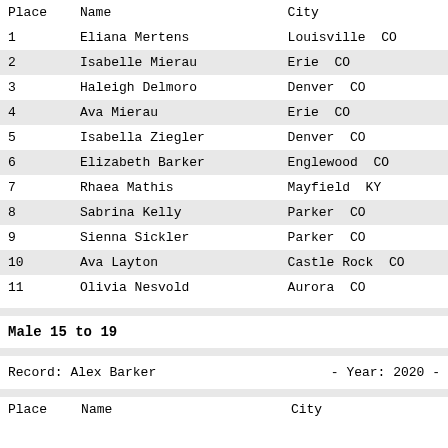| Place | Name | City |
| --- | --- | --- |
| 1 | Eliana Mertens | Louisville  CO |
| 2 | Isabelle Mierau | Erie  CO |
| 3 | Haleigh Delmoro | Denver  CO |
| 4 | Ava Mierau | Erie  CO |
| 5 | Isabella Ziegler | Denver  CO |
| 6 | Elizabeth Barker | Englewood  CO |
| 7 | Rhaea Mathis | Mayfield  KY |
| 8 | Sabrina Kelly | Parker  CO |
| 9 | Sienna Sickler | Parker  CO |
| 10 | Ava Layton | Castle Rock  CO |
| 11 | Olivia Nesvold | Aurora  CO |
Male 15 to 19
Record: Alex Barker                    - Year: 2020 -
| Place | Name | City |
| --- | --- | --- |